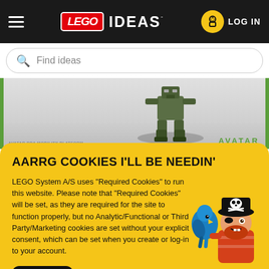LEGO IDEAS — LOG IN (navigation bar)
Find ideas (search bar placeholder)
[Figure (screenshot): Partially visible LEGO Avatar set product image showing a mech/robot figure in grey-green colors, with a green border and 'AVATAR' label in green text at bottom right]
AARRG COOKIES I'LL BE NEEDIN'
LEGO System A/S uses "Required Cookies" to run this website. Please note that "Required Cookies" will be set, as they are required for the site to function properly, but no Analytic/Functional or Third Party/Marketing cookies are set without your explicit consent, which can be set when you create or log-in to your account.
OK
[Figure (illustration): LEGO pirate minifigure with a blue parrot, wearing a black pirate hat with skull and crossbones, red beard, eye patch]